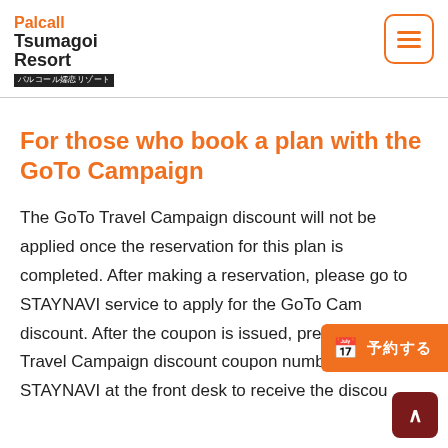Palcall Tsumagoi Resort パルコール嬬恋リゾート
For those who book a plan with the GoTo Campaign
The GoTo Travel Campaign discount will not be applied once the reservation for this plan is completed. After making a reservation, please go to STAYNAVI service to apply for the GoTo Campaign discount. After the coupon is issued, present the GoTo Travel Campaign discount coupon number issued by STAYNAVI at the front desk to receive the discount.